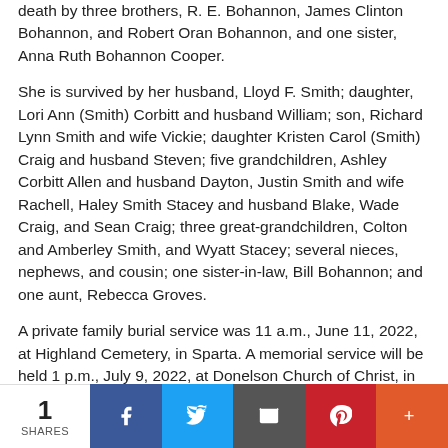death by three brothers, R. E. Bohannon, James Clinton Bohannon, and Robert Oran Bohannon, and one sister, Anna Ruth Bohannon Cooper.
She is survived by her husband, Lloyd F. Smith; daughter, Lori Ann (Smith) Corbitt and husband William; son, Richard Lynn Smith and wife Vickie; daughter Kristen Carol (Smith) Craig and husband Steven; five grandchildren, Ashley Corbitt Allen and husband Dayton, Justin Smith and wife Rachell, Haley Smith Stacey and husband Blake, Wade Craig, and Sean Craig; three great-grandchildren, Colton and Amberley Smith, and Wyatt Stacey; several nieces, nephews, and cousin; one sister-in-law, Bill Bohannon; and one aunt, Rebecca Groves.
A private family burial service was 11 a.m., June 11, 2022, at Highland Cemetery, in Sparta. A memorial service will be held 1 p.m., July 9, 2022, at Donelson Church of Christ, in Nashville. Visitation with the family will be prior to the service.
1 SHARES | Facebook | Twitter | Email | Pinterest | More